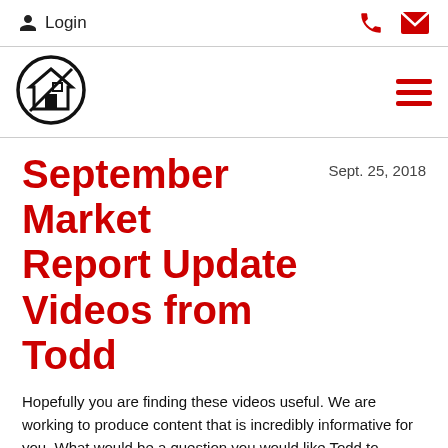Login
[Figure (logo): Real estate logo — circular badge with house icon, black and white]
September Market Report Update Videos from Todd
Sept. 25, 2018
Hopefully you are finding these videos useful. We are working to produce content that is incredibly informative for you. What would be a question you would like Todd to answer? Respond to this email and let me know and i will be sure to pass along the message.
If these videos are something you like, then you can like our page on Facebook to receive the most up to date videos on the market, restaurant reviews, Funday Monday videos (where you can win Amazon gift cards), as well as get a sneak peak on upcoming homes for sale and